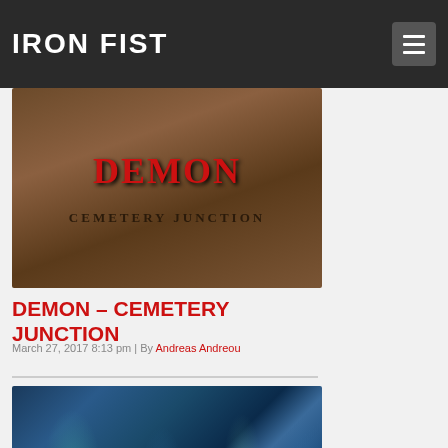IRON FIST
[Figure (photo): Album cover for Demon - Cemetery Junction showing stylized red gothic text 'DEMON' above 'CEMETERY JUNCTION' on a wooden textured background]
DEMON – CEMETERY JUNCTION
March 27, 2017 8:13 pm | By Andreas Andreou
[Figure (photo): Abstract colorful artwork with blue and teal tones, partially visible]